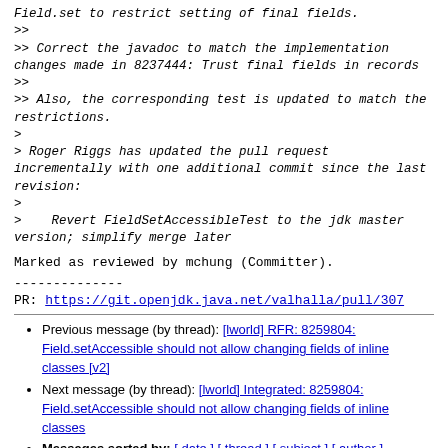Field.set to restrict setting of final fields.
>>
>> Correct the javadoc to match the implementation changes made in 8237444: Trust final fields in records
>>
>> Also, the corresponding test is updated to match the restrictions.
>
> Roger Riggs has updated the pull request incrementally with one additional commit since the last revision:
>
>    Revert FieldSetAccessibleTest to the jdk master version; simplify merge later
Marked as reviewed by mchung (Committer).
--------------
PR:  https://git.openjdk.java.net/valhalla/pull/307
Previous message (by thread): [lworld] RFR: 8259804: Field.setAccessible should not allow changing fields of inline classes [v2]
Next message (by thread): [lworld] Integrated: 8259804: Field.setAccessible should not allow changing fields of inline classes
Messages sorted by: [ date ] [ thread ] [ subject ] [ author ]